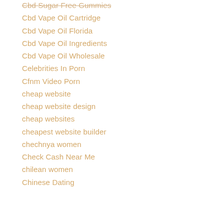Cbd Sugar Free Gummies
Cbd Vape Oil Cartridge
Cbd Vape Oil Florida
Cbd Vape Oil Ingredients
Cbd Vape Oil Wholesale
Celebrities In Porn
Cfnm Video Porn
cheap website
cheap website design
cheap websites
cheapest website builder
chechnya women
Check Cash Near Me
chilean women
Chinese Dating